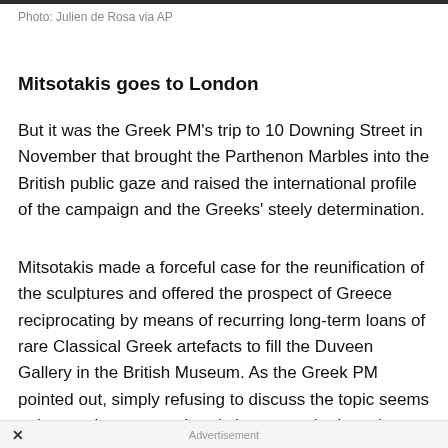Photo: Julien de Rosa via AP
Mitsotakis goes to London
But it was the Greek PM's trip to 10 Downing Street in November that brought the Parthenon Marbles into the British public gaze and raised the international profile of the campaign and the Greeks' steely determination.
Mitsotakis made a forceful case for the reunification of the sculptures and offered the prospect of Greece reciprocating by means of recurring long-term loans of rare Classical Greek artefacts to fill the Duveen Gallery in the British Museum. As the Greek PM pointed out, simply refusing to discuss the topic seems to be a rather an anachronistic approach given the context of everything
× Advertisement